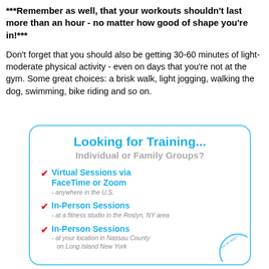***Remember as well, that your workouts shouldn't last more than an hour - no matter how good of shape you're in!***
Don't forget that you should also be getting 30-60 minutes of light-moderate physical activity - even on days that you're not at the gym. Some great choices: a brisk walk, light jogging, walking the dog, swimming, bike riding and so on.
[Figure (infographic): Advertisement box with rounded blue border. Title: 'Looking for Training... Individual or Family Groups?' with three checkmark items: 'Virtual Sessions via FaceTime or Zoom - anywhere in the U.S.', 'In-Person Sessions - at a fitness studio in the Roslyn, NY area', 'In-Person Sessions - at your location in Nassau County on Long Island New York'. A circular stamp partially visible in bottom right corner.]